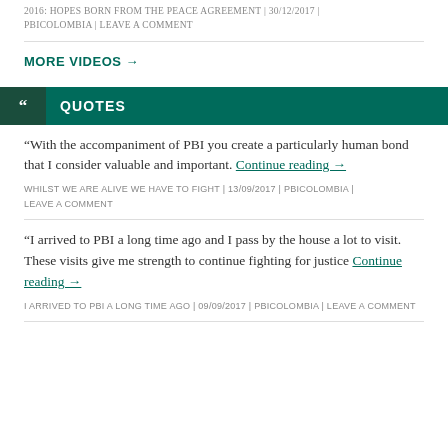2016: HOPES BORN FROM THE PEACE AGREEMENT | 30/12/2017 | PBICOLOMBIA | LEAVE A COMMENT
MORE VIDEOS →
" QUOTES
“With the accompaniment of PBI you create a particularly human bond that I consider valuable and important. Continue reading →
WHILST WE ARE ALIVE WE HAVE TO FIGHT | 13/09/2017 | PBICOLOMBIA | LEAVE A COMMENT
“I arrived to PBI a long time ago and I pass by the house a lot to visit. These visits give me strength to continue fighting for justice Continue reading →
I ARRIVED TO PBI A LONG TIME AGO | 09/09/2017 | PBICOLOMBIA | LEAVE A COMMENT